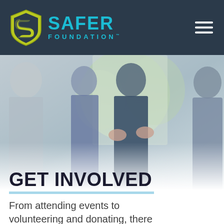SAFER FOUNDATION
[Figure (photo): Group of four professionals in a business setting, engaged in conversation. A man in a blue blazer with glasses appears to be speaking and gesturing, while two women and another man listen attentively.]
GET INVOLVED
From attending events to volunteering and donating, there